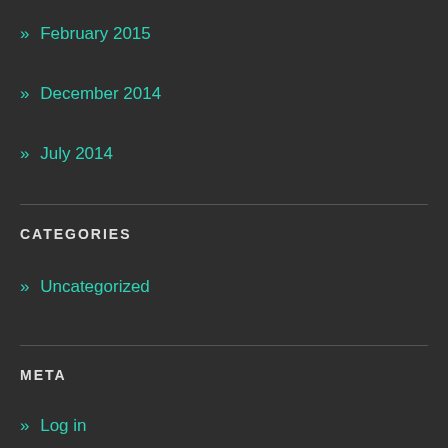» February 2015
» December 2014
» July 2014
CATEGORIES
» Uncategorized
META
» Log in
» Entries RSS
» Comments RSS
» WordPress.org